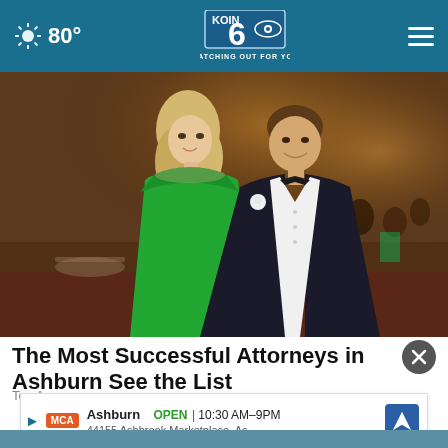80° KOIN 6 — WATCHING OUT FOR YOU
[Figure (photo): A woman in a green strapless dress and a man in a tuxedo with bow tie and boutonniere posing at a formal event/gala inside a ballroom]
The Most Successful Attorneys in Ashburn See the List
Top A...
Ashburn  OPEN  10:30 AM–9PM  44155 Ashbrook Marketplace, As...